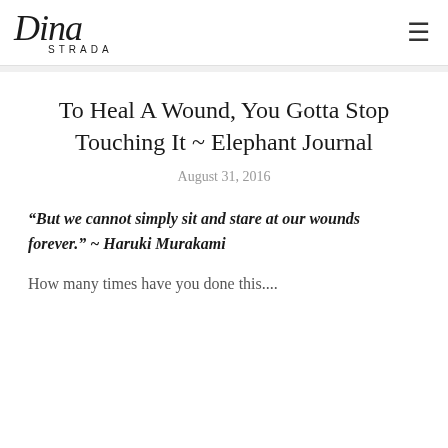Dina STRADA
To Heal A Wound, You Gotta Stop Touching It ~ Elephant Journal
August 31, 2016
“But we cannot simply sit and stare at our wounds forever.” ~ Haruki Murakami
How many times have you done this....